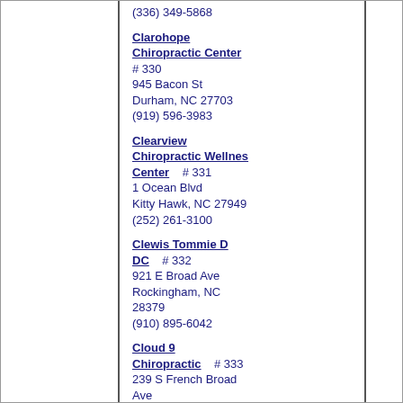(336) 349-5868
Clarohope Chiropractic Center # 330
945 Bacon St
Durham, NC 27703
(919) 596-3983
Clearview Chiropractic Wellnes Center # 331
1 Ocean Blvd
Kitty Hawk, NC 27949
(252) 261-3100
Clewis Tommie D DC # 332
921 E Broad Ave
Rockingham, NC 28379
(910) 895-6042
Cloud 9 Chiropractic # 333
239 S French Broad Ave
Asheville, NC 28801
(828) 255-5520